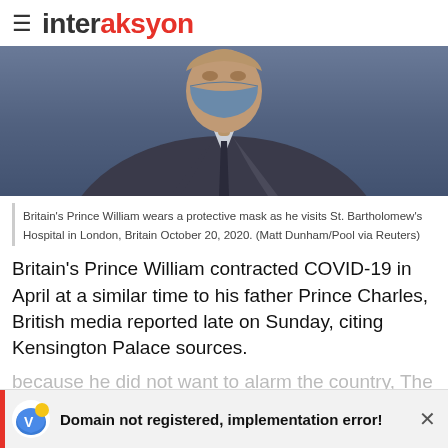interaksyon
[Figure (photo): A person wearing a protective mask and dark suit, photo of Britain's Prince William at St. Bartholomew's Hospital]
Britain's Prince William wears a protective mask as he visits St. Bartholomew's Hospital in London, Britain October 20, 2020. (Matt Dunham/Pool via Reuters)
Britain's Prince William contracted COVID-19 in April at a similar time to his father Prince Charles, British media reported late on Sunday, citing Kensington Palace sources.
because he did not want to alarm the country, The Sun newspaper reported.